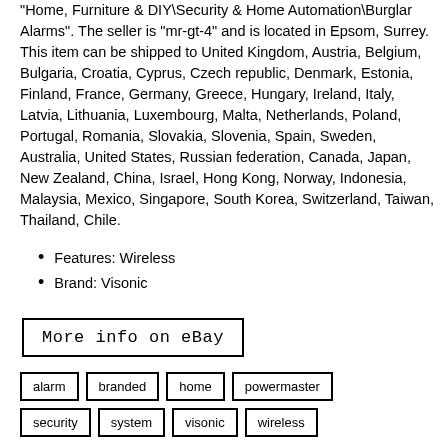"Home, Furniture & DIY\Security & Home Automation\Burglar Alarms". The seller is "mr-gt-4" and is located in Epsom, Surrey. This item can be shipped to United Kingdom, Austria, Belgium, Bulgaria, Croatia, Cyprus, Czech republic, Denmark, Estonia, Finland, France, Germany, Greece, Hungary, Ireland, Italy, Latvia, Lithuania, Luxembourg, Malta, Netherlands, Poland, Portugal, Romania, Slovakia, Slovenia, Spain, Sweden, Australia, United States, Russian federation, Canada, Japan, New Zealand, China, Israel, Hong Kong, Norway, Indonesia, Malaysia, Mexico, Singapore, South Korea, Switzerland, Taiwan, Thailand, Chile.
Features: Wireless
Brand: Visonic
[Figure (other): More info on eBay button link]
alarm
branded
home
powermaster
security
system
visonic
wireless